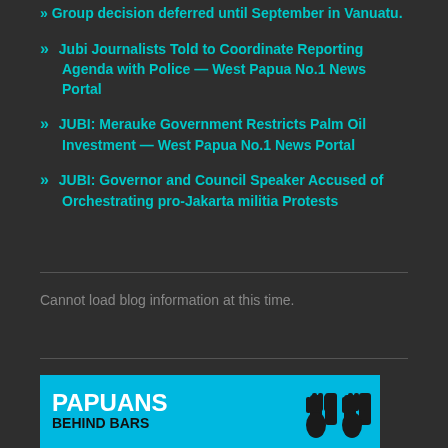Group decision deferred until September in Vanuatu.
Jubi Journalists Told to Coordinate Reporting Agenda with Police — West Papua No.1 News Portal
JUBI: Merauke Government Restricts Palm Oil Investment — West Papua No.1 News Portal
JUBI: Governor and Council Speaker Accused of Orchestrating pro-Jakarta militia Protests
Cannot load blog information at this time.
[Figure (logo): Papuans Behind Bars logo — blue background with white PAPUANS text, black BEHIND BARS text, and silhouette of hands gripping prison bars on the right side]